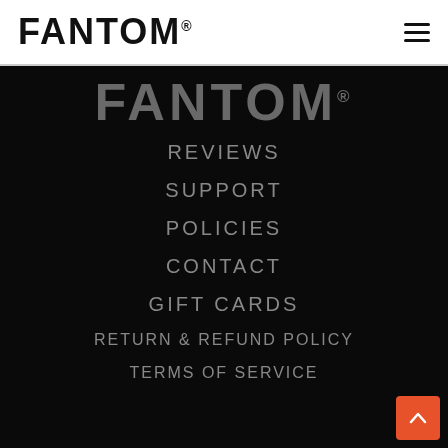FANTOM®
[Figure (logo): Fantom logo in grey on black background]
REVIEWS
SUPPORT
POLICIES
CONTACT
GIFT CARDS
RETURN & REFUND POLICY
TERMS OF SERVICE